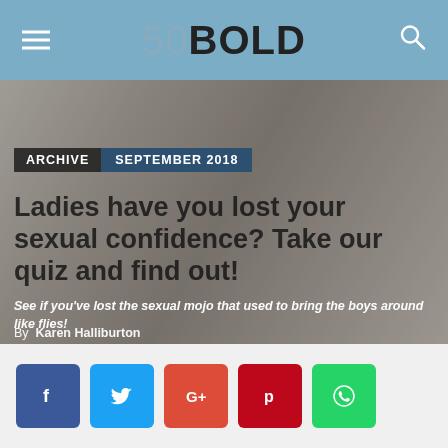50BOLD
[Figure (photo): Hero image showing a person's legs in dark stockings against white bedding background]
ARCHIVE | SEPTEMBER 2018
Ladies have you lost your sexual confidence? Take our quiz and find out!
See if you've lost the sexual mojo that used to bring the boys around like flies!
By Karen Halliburton
[Figure (infographic): Social media sharing buttons: Facebook, Twitter, Google+, Pinterest, WhatsApp]